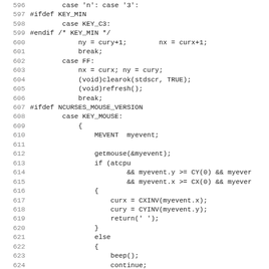[Figure (screenshot): Source code listing in C showing lines 596-627 of a curses-based terminal application, featuring keyboard and mouse event handling with ncurses library functions.]